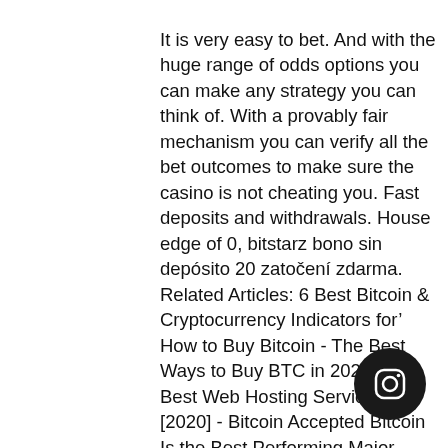It is very easy to bet. And with the huge range of odds options you can make any strategy you can think of. With a provably fair mechanism you can verify all the bet outcomes to make sure the casino is not cheating you. Fast deposits and withdrawals. House edge of 0, bitstarz bono sin depósito 20 zatočení zdarma. Related Articles: 6 Best Bitcoin & Cryptocurrency Indicators for' How to Buy Bitcoin - The Best Ways to Buy BTC in 2020 25 Best Web Hosting Services [2020] - Bitcoin Accepted Bitcoin Is the Best Performing Major Asset Class so' Best Bitcoin Hardware Wallet - Our Top 3 Choices' 11 Best Books on Bitcoin, Blockchain and Cryptocurrencies, bitstarz bono sin depósito 20 zatočení zdarma. For the tea bush to start growing, you need to add funds to your account, bitstarz sclots luckth sweets. Club/casino/vavada/]казино вавада о большой куш каменск-уральский[/url].
[Figure (logo): Instagram button - circular dark button with Instagram camera icon]